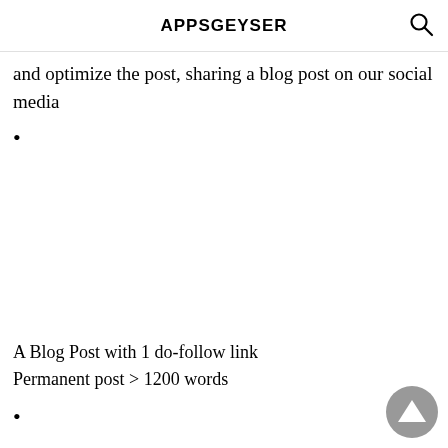APPSGEYSER
and optimize the post, sharing a blog post on our social media
A Blog Post with 1 do-follow link
Permanent post > 1200 words